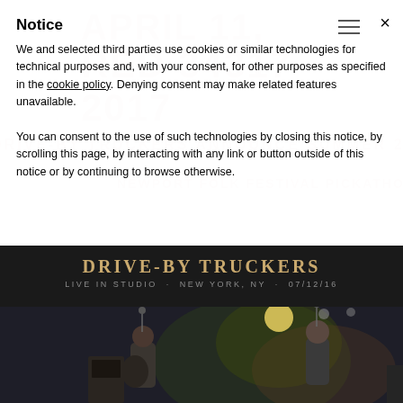Notice
We and selected third parties use cookies or similar technologies for technical purposes and, with your consent, for other purposes as specified in the cookie policy. Denying consent may make related features unavailable.
You can consent to the use of such technologies by closing this notice, by scrolling this page, by interacting with any link or button outside of this notice or by continuing to browse otherwise.
[Figure (photo): Drive-By Truckers live studio session banner and band photo. Text reads: DRIVE-BY TRUCKERS / LIVE IN STUDIO · NEW YORK, NY · 07/12/16. Shows musicians performing on a dark stage.]